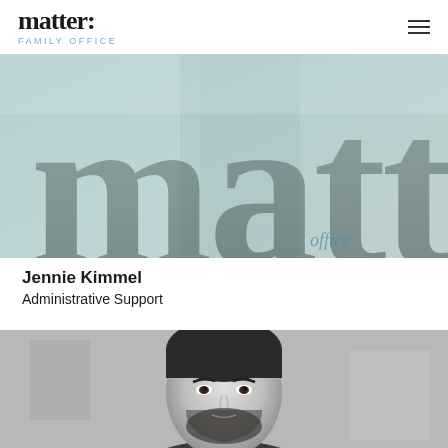matter. Family Office
[Figure (photo): Close-up photo of frosted glass or window with large serif 'matter.' text lettering, teal/blue-green tones, with blue script text partially visible in lower right corner]
Jennie Kimmel
Administrative Support
[Figure (photo): Black and white portrait photo of a man with dark hair and beard, looking directly at camera, office background]